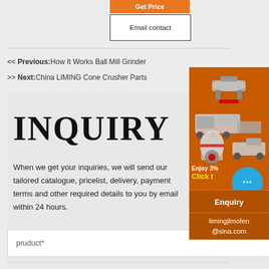Get Price
Email contact
<< Previous:How It Works Ball Mill Grinder
>> Next:China LIMING Cone Crusher Parts
INQUIRY
When we get your inquiries, we will send our tailored catalogue, pricelist, delivery, payment terms and other required details to you by email within 24 hours.
pruduct*
[Figure (photo): Orange sidebar ad showing construction/mining machinery equipment with 'Enjoy 3%' and 'Click to' text, chat bubble icon, Enquiry label, and limingjlmofen@sina.com contact]